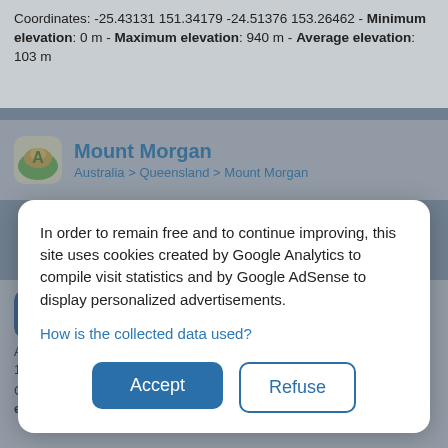Coordinates: -25.43131 151.34179 -24.51376 153.26462 - Minimum elevation: 0 m - Maximum elevation: 940 m - Average elevation: 103 m
Mount Morgan
Australia > Queensland > Mount Morgan
In order to remain free and to continue improving, this site uses cookies created by Google Analytics to compile visit statistics and by Google AdSense to display personalized advertisements.
How is the collected data used?
Accept
Refuse
Agnes Water
Australia > Queensland > Agnes Water
Agnes Water, Gladstone Regional, Queensland, 4677, Australia (-24.21233 151.90302)
Coordinates: -24.25233 151.86302 -24.17233 151.94302 - Minimum elevation: 4 m - Maximum elevation: 317 m - Average elevation: